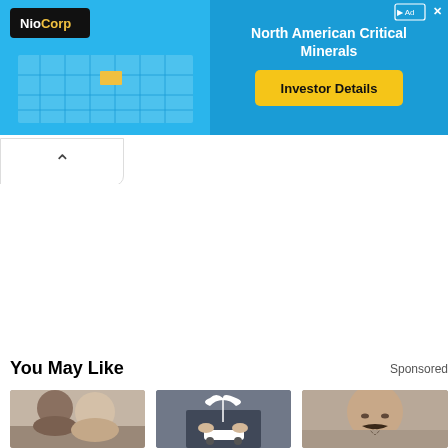[Figure (screenshot): NioCorp ad banner with map of USA showing Nebraska highlighted in yellow, blue background, text 'North American Critical Minerals' and yellow 'Investor Details' button]
[Figure (screenshot): Collapse/close arrow button (chevron up) below the ad banner]
You May Like
Sponsored
[Figure (photo): Two women, one with dark braided hair, one with blonde hair, close-up photo]
[Figure (photo): Person in suit holding small white umbrella over a toy car, insurance concept]
[Figure (photo): Close-up portrait of man with mustache and goatee]